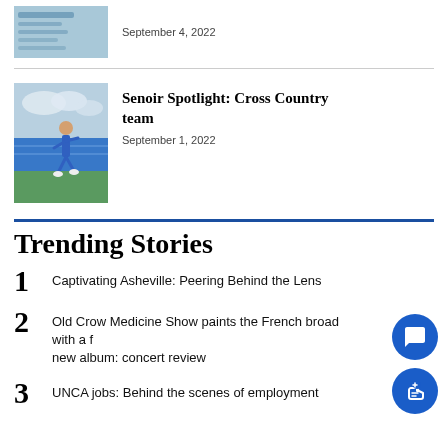[Figure (photo): Thumbnail image of what appears to be a document or poster with blue tones]
September 4, 2022
[Figure (photo): Photo of a female runner on a blue track under a cloudy sky]
Senoir Spotlight: Cross Country team
September 1, 2022
Trending Stories
1  Captivating Asheville: Peering Behind the Lens
2  Old Crow Medicine Show paints the French broad with a fresh new album: concert review
3  UNCA jobs: Behind the scenes of employment